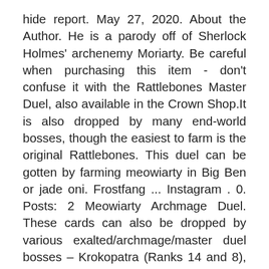hide report. May 27, 2020. About the Author. He is a parody off of Sherlock Holmes' archenemy Moriarty. Be careful when purchasing this item - don't confuse it with the Rattlebones Master Duel, also available in the Crown Shop.It is also dropped by many end-world bosses, though the easiest to farm is the original Rattlebones. This duel can be gotten by farming meowiarty in Big Ben or jade oni. Frostfang ... Instagram . 0. Posts: 2 Meowiarty Archmage Duel. These cards can also be dropped by various exalted/archmage/master duel bosses – Krokopatra (Ranks 14 and 8), Meowiarty (Ranks 14 and 12), and Rattlebones (Ranks 14 and 7). You are probably fine with this gear until level 100 and you can get Malistaire gear,